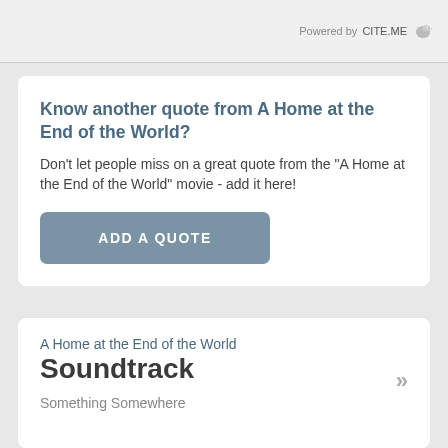Powered by CITE.ME
Know another quote from A Home at the End of the World?
Don't let people miss on a great quote from the "A Home at the End of the World" movie - add it here!
ADD A QUOTE
A Home at the End of the World
Soundtrack
Something Somewhere